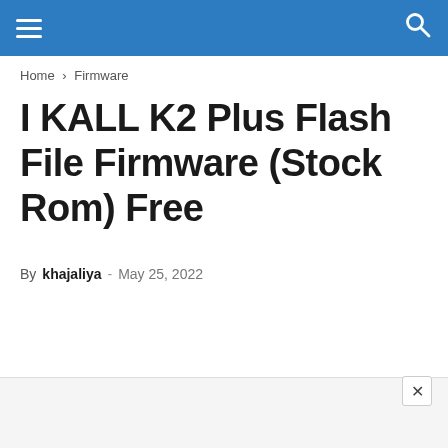Navigation bar with hamburger menu and search icon
Home › Firmware
I KALL K2 Plus Flash File Firmware (Stock Rom) Free
By khajaliya - May 25, 2022